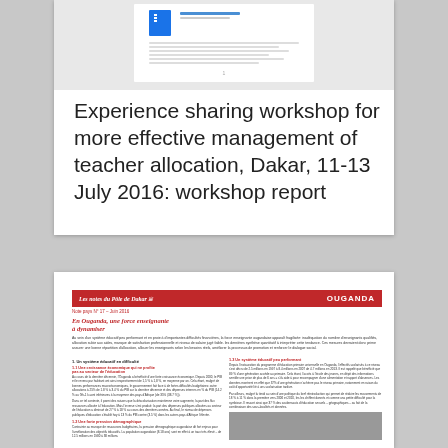[Figure (screenshot): Thumbnail preview of a document with a blue icon and header]
Experience sharing workshop for more effective management of teacher allocation, Dakar, 11-13 July 2016: workshop report
[Figure (screenshot): Preview of a French-language policy note titled 'Les notes du Pôle de Dakar - Ouganda' with red header, text columns, and a photo]